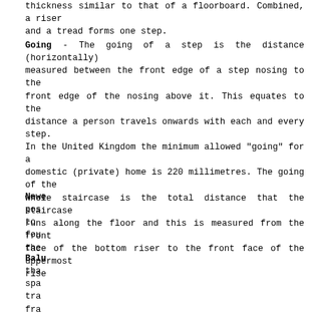thickness similar to that of a floorboard. Combined, a riser and a tread forms one step.
Going - The going of a step is the distance (horizontally) measured between the front edge of a step nosing to the front edge of the nosing above it. This equates to the distance a person travels onwards with each and every step. In the United Kingdom the minimum allowed "going" for a domestic (private) home is 220 millimetres. The going of the whole staircase is the total distance that the staircase runs along the floor and this is measured from the front face of the bottom riser to the front face of the uppermost rise
Newe pos to fou the
Balu tha spa tra fra tha two through the gap.
This site uses cookies from Google to deliver its services, personalise ads, and analyze traffic. By using this site, you agree to its use of cookies. Learn More   I Agree